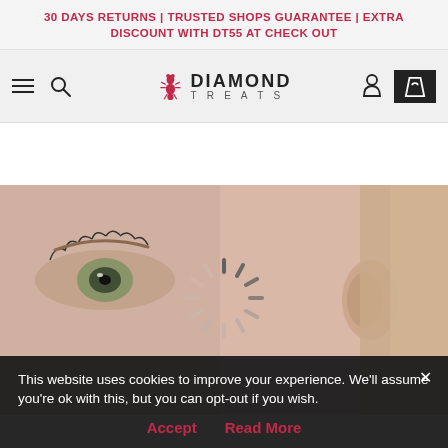30 DAYS RETURNS | TRUSTED SHOPS GUARANTEE | EXTRA DISCOUNT WITH DT55 AT CHECK OUT
[Figure (screenshot): Diamond Treats website navigation bar with hamburger menu, search icon, Diamond Treats logo with ant icon, user account icon, and shopping bag icon]
[Figure (photo): Close-up of a woman's eye and ear (side profile) with a loading spinner (radial lines) overlaid in the center, suggesting a product image is loading]
This website uses cookies to improve your experience. We'll assume you're ok with this, but you can opt-out if you wish.
Accept   Read More